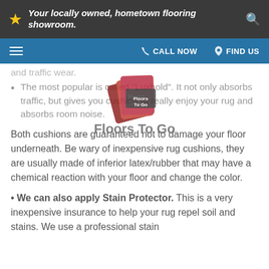Your locally owned, hometown flooring showroom.
[Figure (logo): Floors To Go logo watermark overlaid on content]
and traffic wear.
The most popular is called "Luxhold". It not only absorbs traffic, but gives you cushion to really enjoy your rug and absorbs room noise.
Both cushions are guaranteed not to damage your floor underneath. Be wary of inexpensive rug cushions, they are usually made of inferior latex/rubber that may have a chemical reaction with your floor and change the color.
• We can also apply Stain Protector. This is a very inexpensive insurance to help your rug repel soil and stains. We use a professional stain